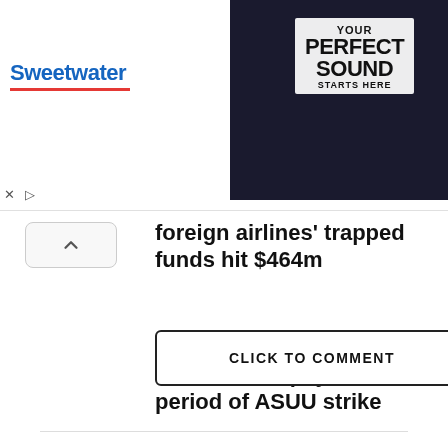[Figure (screenshot): Sweetwater advertisement banner with 'Your Perfect Sound Starts Here' text, product thumbnails showing $29.00 and $19.00 prices]
foreign airlines' trapped funds hit $464m
Nigerian govt insists on 'no work, no pay' for period of ASUU strike
Sowore accuses presidential candidates of not fighting for students' rights, others
CLICK TO COMMENT